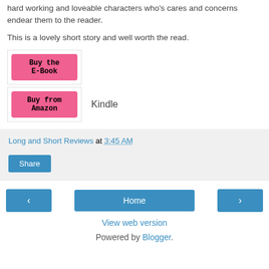hard working and loveable characters who's cares and concerns endear them to the reader.
This is a lovely short story and well worth the read.
[Figure (other): Pink 'Buy the E-Book' button inside a white bordered box]
[Figure (other): Pink 'Buy from Amazon' button inside a white bordered box, followed by 'Kindle' text label]
Long and Short Reviews at 3:45 AM
[Figure (other): Blue 'Share' button]
[Figure (other): Navigation buttons: left arrow, Home, right arrow]
View web version
Powered by Blogger.